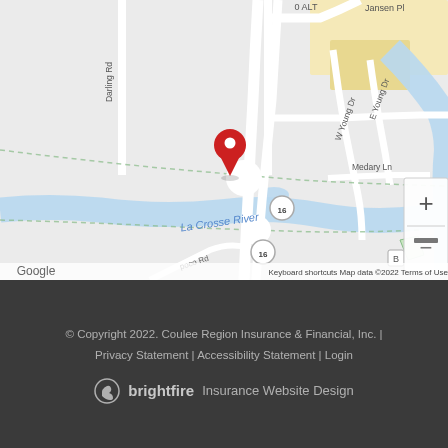[Figure (map): Google Maps screenshot showing the location near La Crosse River in Wisconsin. Features roads including Darling Rd, W Young Dr, E Young Dr, Medary Ln, road 16 (ALT), and La Crosse River waterway. A red map pin marks the business location. Zoom controls (+/-) visible in lower right corner. Road labels and junction circles for route 16 visible.]
© Copyright 2022. Coulee Region Insurance & Financial, Inc. | Privacy Statement | Accessibility Statement | Login
brightfire Insurance Website Design